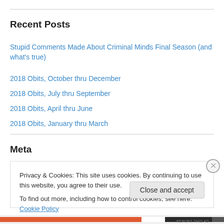Recent Posts
Stupid Comments Made About Criminal Minds Final Season (and what's true)
2018 Obits, October thru December
2018 Obits, July thru September
2018 Obits, April thru June
2018 Obits, January thru March
Meta
Privacy & Cookies: This site uses cookies. By continuing to use this website, you agree to their use.
To find out more, including how to control cookies, see here: Cookie Policy
Close and accept